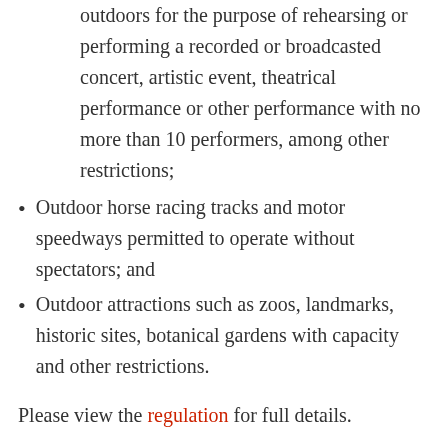outdoors for the purpose of rehearsing or performing a recorded or broadcasted concert, artistic event, theatrical performance or other performance with no more than 10 performers, among other restrictions;
Outdoor horse racing tracks and motor speedways permitted to operate without spectators; and
Outdoor attractions such as zoos, landmarks, historic sites, botanical gardens with capacity and other restrictions.
Please view the regulation for full details.
In addition, to support students who have worked